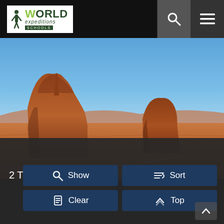[Figure (logo): World Expeditions Schools logo - white background with person figure icon, green text reading WORLD expeditions SCHOOLS]
[Figure (photo): Monument Valley landscape with two large red sandstone buttes (the Mittens) under a clear blue sky, vast red desert floor in the foreground]
2 Trips Found
[Figure (screenshot): UI button grid with four dark blue buttons: Show (with search icon), Sort (with sort icon), Clear (with filter icon), Top (with chevron up icon), and a scroll-to-top button at bottom right]